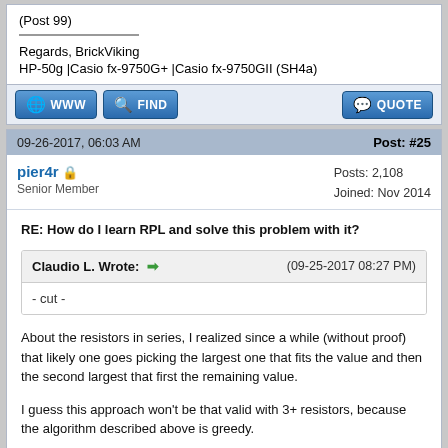(Post 99)
Regards, BrickViking
HP-50g |Casio fx-9750G+ |Casio fx-9750GII (SH4a)
09-26-2017, 06:03 AM    Post: #25
pier4r  Senior Member   Posts: 2,108  Joined: Nov 2014
RE: How do I learn RPL and solve this problem with it?
Claudio L. Wrote:  ➡  (09-25-2017 08:27 PM)
- cut -
About the resistors in series, I realized since a while (without proof) that likely one goes picking the largest one that fits the value and then the second largest that first the remaining value.

I guess this approach won't be that valid with 3+ resistors, because the algorithm described above is greedy.

For the parallel resistors, I did not analyse the formula (I just took